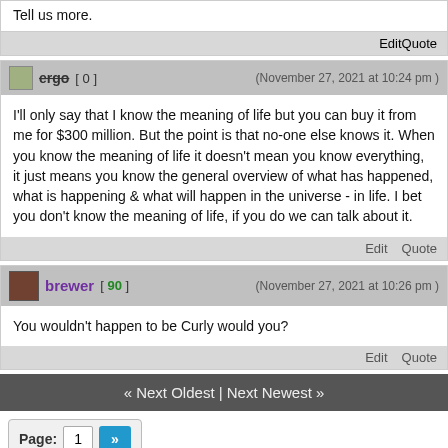Tell us more.
Edit   Quote
ergo [ 0 ]   (November 27, 2021 at 10:24 pm )
I'll only say that I know the meaning of life but you can buy it from me for $300 million. But the point is that no-one else knows it. When you know the meaning of life it doesn't mean you know everything, it just means you know the general overview of what has happened, what is happening & what will happen in the universe - in life. I bet you don't know the meaning of life, if you do we can talk about it.
Edit   Quote
brewer [ 90 ]   (November 27, 2021 at 10:26 pm )
You wouldn't happen to be Curly would you?
Edit   Quote
« Next Oldest | Next Newest »
Page: 1  »